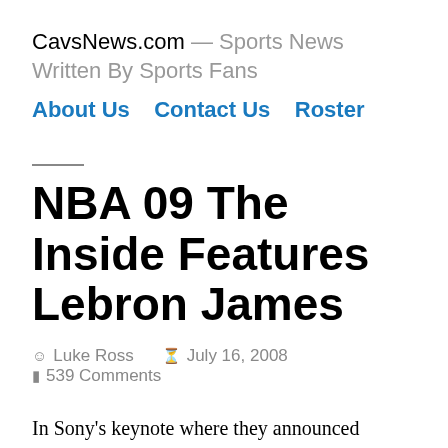CavsNews.com — Sports News Written By Sports Fans
About Us   Contact Us   Roster
NBA 09 The Inside Features Lebron James
Luke Ross   July 16, 2008   539 Comments
In Sony's keynote where they announced